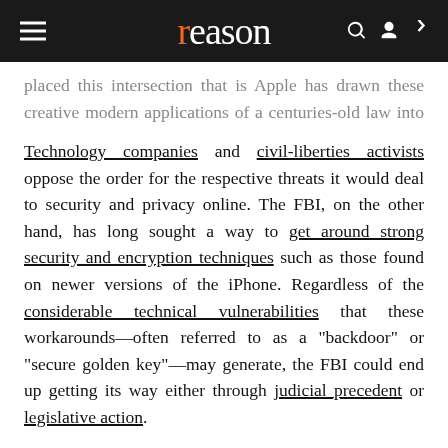reason
placed this intersection that is Apple has drawn these creative modern applications of a centuries-old law into strong public scrutiny.
Technology companies and civil-liberties activists oppose the order for the respective threats it would deal to security and privacy online. The FBI, on the other hand, has long sought a way to get around strong security and encryption techniques such as those found on newer versions of the iPhone. Regardless of the considerable technical vulnerabilities that these workarounds—often referred to as a "backdoor" or "secure golden key"—may generate, the FBI could end up getting its way either through judicial precedent or legislative action.
If it does, Apple engineers would be enlisted as unwilling iPhone hackers for the feds. Specifically, the FBI wants to force Apple engineers to build custom software that can